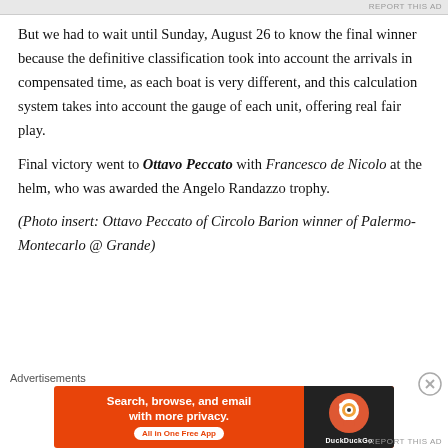REPORT THIS AD
But we had to wait until Sunday, August 26 to know the final winner because the definitive classification took into account the arrivals in compensated time, as each boat is very different, and this calculation system takes into account the gauge of each unit, offering real fair play.
Final victory went to Ottavo Peccato with Francesco de Nicolo at the helm, who was awarded the Angelo Randazzo trophy.
(Photo insert: Ottavo Peccato of Circolo Barion winner of Palermo-Montecarlo @ Grande)
[Figure (screenshot): DuckDuckGo advertisement banner with orange background: 'Search, browse, and email with more privacy. All in One Free App' with DuckDuckGo logo on dark right panel]
REPORT THIS AD